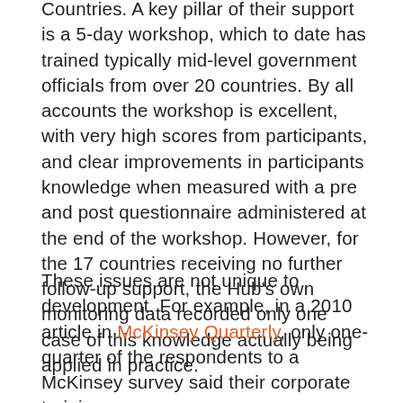Countries. A key pillar of their support is a 5-day workshop, which to date has trained typically mid-level government officials from over 20 countries. By all accounts the workshop is excellent, with very high scores from participants, and clear improvements in participants knowledge when measured with a pre and post questionnaire administered at the end of the workshop. However, for the 17 countries receiving no further follow-up support, the Hub's own monitoring data recorded only one case of this knowledge actually being applied in practice.
These issues are not unique to development. For example, in a 2010 article in McKinsey Quarterly, only one-quarter of the respondents to a McKinsey survey said their corporate training